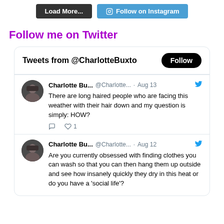[Figure (screenshot): Two buttons: 'Load More...' (dark/black) and 'Follow on Instagram' (blue with Instagram icon)]
Follow me on Twitter
[Figure (screenshot): Twitter widget showing 'Tweets from @CharlotteBuxto' with a Follow button. Two tweets: 1) Charlotte Bu... @Charlotte... · Aug 13 - There are long haired people who are facing this weather with their hair down and my question is simply: HOW? (1 like) 2) Charlotte Bu... @Charlotte... · Aug 12 - Are you currently obsessed with finding clothes you can wash so that you can then hang them up outside and see how insanely quickly they dry in this heat or do you have a 'social life'?]